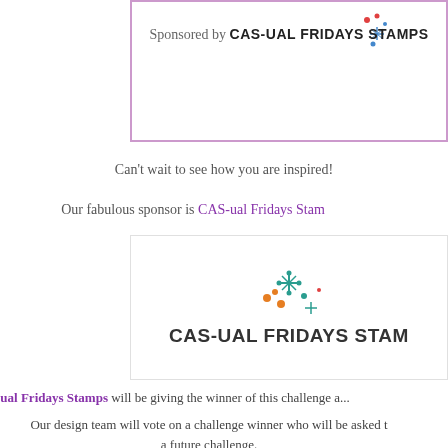[Figure (logo): CAS-ual Fridays Stamps logo with colorful dots/snowflake icon and text, shown in a bordered box at the top of the page. Text reads 'Sponsored by CAS-ual Fridays Stamps']
Can't wait to see how you are inspired!
Our fabulous sponsor is CAS-ual Fridays Stamps
[Figure (logo): CAS-ual Fridays Stamps logo with colorful dots/snowflake icon above the text 'CAS-ual Fridays Stamps' in a bordered box]
CAS-ual Fridays Stamps will be giving the winner of this challenge...
Our design team will vote on a challenge winner who will be asked to... a future challenge.
This week's guest designer is Mugdha from Craftomania, be sure to... much fabulous inspiration!
Now let see what our fabulous guest designer has created f...